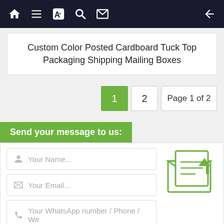Navigation bar with home, list, translate, search, mail icons and back arrow
Custom Color Posted Cardboard Tuck Top Packaging Shipping Mailing Boxes
1  2  Page 1 of 2
Send your message to us:
Your Name...
Your Email...
Your WhatsApp number / Phone / We